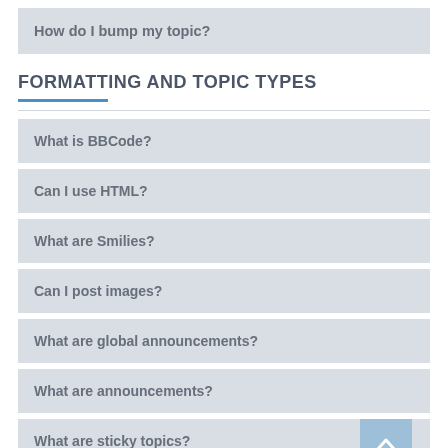How do I bump my topic?
FORMATTING AND TOPIC TYPES
What is BBCode?
Can I use HTML?
What are Smilies?
Can I post images?
What are global announcements?
What are announcements?
What are sticky topics?